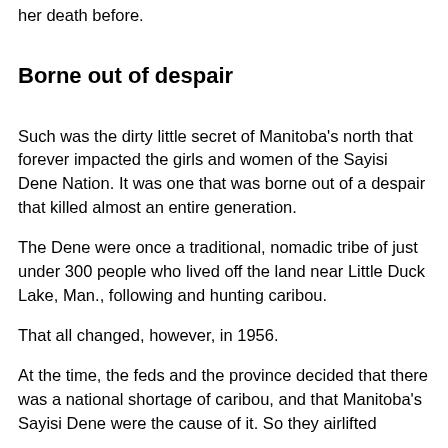her death before.
Borne out of despair
Such was the dirty little secret of Manitoba's north that forever impacted the girls and women of the Sayisi Dene Nation. It was one that was borne out of a despair that killed almost an entire generation.
The Dene were once a traditional, nomadic tribe of just under 300 people who lived off the land near Little Duck Lake, Man., following and hunting caribou.
That all changed, however, in 1956.
At the time, the feds and the province decided that there was a national shortage of caribou, and that Manitoba's Sayisi Dene were the cause of it. So they airlifted...